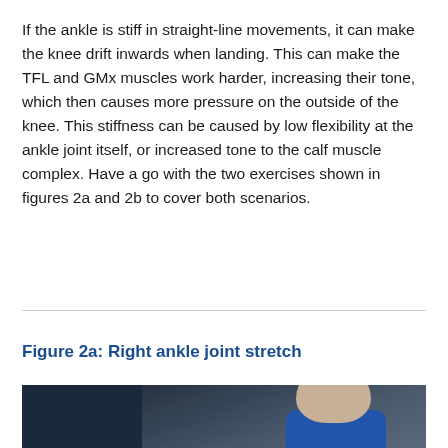If the ankle is stiff in straight-line movements, it can make the knee drift inwards when landing. This can make the TFL and GMx muscles work harder, increasing their tone, which then causes more pressure on the outside of the knee. This stiffness can be caused by low flexibility at the ankle joint itself, or increased tone to the calf muscle complex. Have a go with the two exercises shown in figures 2a and 2b to cover both scenarios.
Figure 2a: Right ankle joint stretch
[Figure (photo): A person performing a right ankle joint stretch exercise, viewed from behind/side. The person is wearing a blue shirt and is leaning forward. Background is dark with gym equipment visible.]